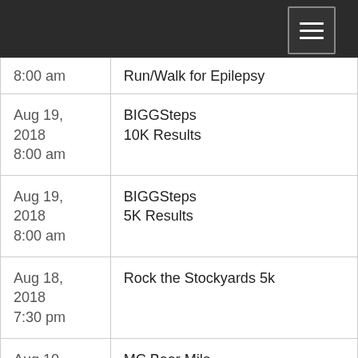| 8:00 am | Run/Walk for Epilepsy |
| Aug 19, 2018
8:00 am | BIGGSteps
10K Results |
| Aug 19, 2018
8:00 am | BIGGSteps
5K Results |
| Aug 18, 2018
7:30 pm | Rock the Stockyards 5k |
| Aug 10, 2018
6:30 pm | MC Beer Mile
Mens Heat 1 |
| Aug 10, 2018 | MC Beer Mile |